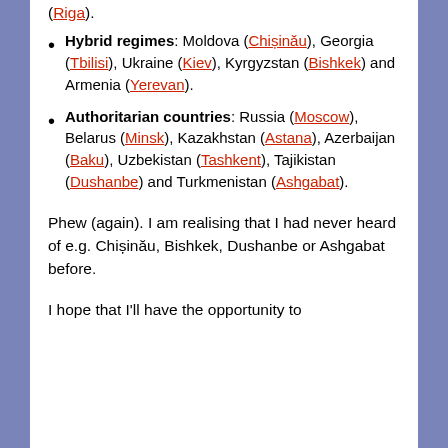(Riga).
Hybrid regimes: Moldova (Chișinău), Georgia (Tbilisi), Ukraine (Kiev), Kyrgyzstan (Bishkek) and Armenia (Yerevan).
Authoritarian countries: Russia (Moscow), Belarus (Minsk), Kazakhstan (Astana), Azerbaijan (Baku), Uzbekistan (Tashkent), Tajikistan (Dushanbe) and Turkmenistan (Ashgabat).
Phew (again). I am realising that I had never heard of e.g. Chișinău, Bishkek, Dushanbe or Ashgabat before.
I hope that I'll have the opportunity to